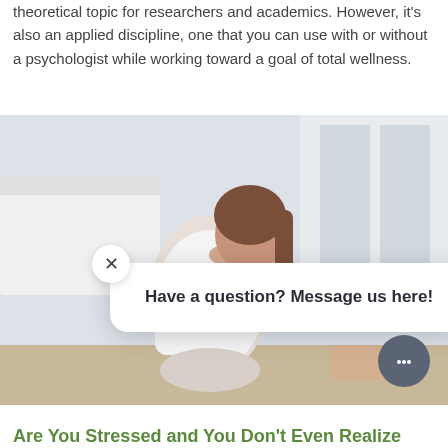theoretical topic for researchers and academics. However, it's also an applied discipline, one that you can use with or without a psychologist while working toward a goal of total wellness.
[Figure (photo): Woman sitting on floor leaning against a bed, head down and hand on forehead, appearing stressed or distressed. A chat popup overlay reads 'Have a question? Message us here!' with a close button and a chat FAB button.]
Are You Stressed and You Don't Even Realize